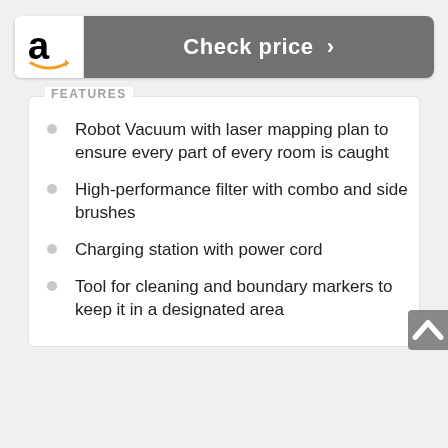[Figure (logo): Amazon logo button with 'Check price >' text on grey background]
FEATURES
Robot Vacuum with laser mapping plan to ensure every part of every room is caught
High-performance filter with combo and side brushes
Charging station with power cord
Tool for cleaning and boundary markers to keep it in a designated area